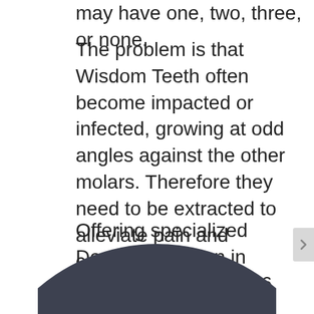may have one, two, three, or none.
The problem is that Wisdom Teeth often become impacted or infected, growing at odd angles against the other molars. Therefore they need to be extracted to alleviate pain and complications.
Offering specialized Dental Extraction in Edmonton, Ellerslie 66 can assess your personal needs and offer solutions if you have impacted wisdom teeth or are concerned about them becoming impacted in the future.
[Figure (illustration): Bottom portion of a large dark circular shape (dark gray/charcoal color), cropped at the bottom of the page, appearing to be a dental image or decorative circle element.]